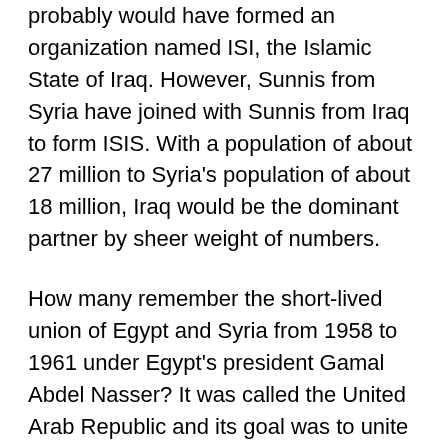probably would have formed an organization named ISI, the Islamic State of Iraq. However, Sunnis from Syria have joined with Sunnis from Iraq to form ISIS. With a population of about 27 million to Syria's population of about 18 million, Iraq would be the dominant partner by sheer weight of numbers.
How many remember the short-lived union of Egypt and Syria from 1958 to 1961 under Egypt's president Gamal Abdel Nasser? It was called the United Arab Republic and its goal was to unite all of the Arab nations of the Middle East. Since Nasser was not aligned with East or West and was considered a leftist, the West worried about the threat he might pose to western interests. The union broke down and